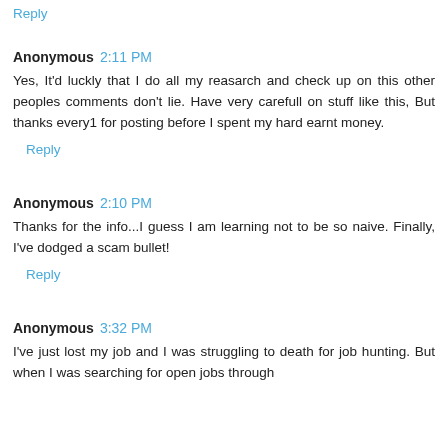Reply
Anonymous 2:11 PM
Yes, It'd luckly that I do all my reasarch and check up on this other peoples comments don't lie. Have very carefull on stuff like this, But thanks every1 for posting before I spent my hard earnt money.
Reply
Anonymous 2:10 PM
Thanks for the info...I guess I am learning not to be so naive. Finally, I've dodged a scam bullet!
Reply
Anonymous 3:32 PM
I've just lost my job and I was struggling to death for job hunting. But when I was searching for open jobs through